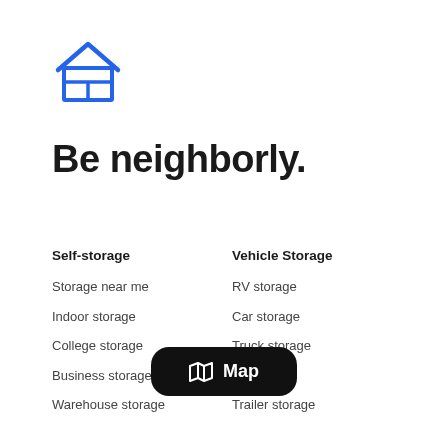[Figure (logo): Blue house/storage facility icon with a small grid/box element in front]
Be neighborly.
Self-storage
Storage near me
Indoor storage
College storage
Business storage
Warehouse storage
Vehicle Storage
RV storage
Car storage
Truck storage
orage
Trailer storage
[Figure (other): Black rounded rectangle button with map icon and text 'Map']